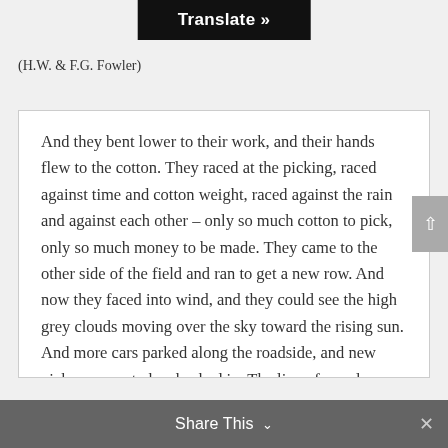Translate »
(H.W. & F.G. Fowler)
And they bent lower to their work, and their hands flew to the cotton.  They raced at the picking, raced against time and cotton weight, raced against the rain and against each other – only so much cotton to pick, only so much money to be made.  They came to the other side of the field and ran to get a new row.  And now they faced into wind, and they could see the high grey clouds moving over the sky toward the rising sun.  And more cars parked along the roadside, and new pickers came to be checked in.  The line of people moved frantically across the field, weighed at the end, marked their cotton, checked the
Share This